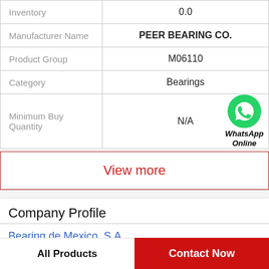| Field | Value |
| --- | --- |
| Inventory | 0.0 |
| Manufacturer Name | PEER BEARING CO. |
| Product Group | M06110 |
| Category | Bearings |
| Minimum Buy Quantity | N/A |
[Figure (logo): WhatsApp green circle icon with phone handset, labeled 'WhatsApp Online' in bold italic]
View more
Company Profile
Bearing de Mexico, S.A.
All Products
Contact Now